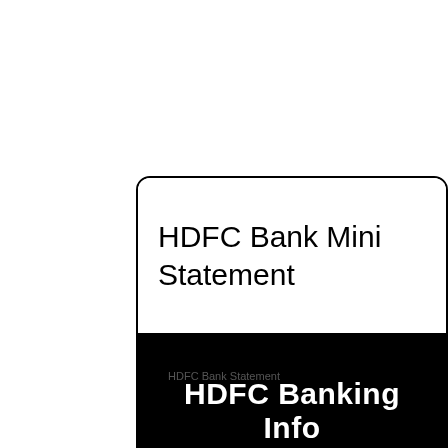HDFC Bank Mini Statement
HDFC Banking Info
HDFC Bank Statement